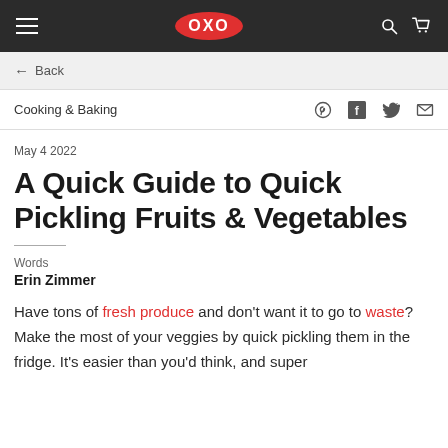OXO navigation bar with hamburger menu, OXO logo, search and cart icons
← Back
Cooking & Baking
May 4 2022
A Quick Guide to Quick Pickling Fruits & Vegetables
Words
Erin Zimmer
Have tons of fresh produce and don't want it to go to waste? Make the most of your veggies by quick pickling them in the fridge. It's easier than you'd think, and super